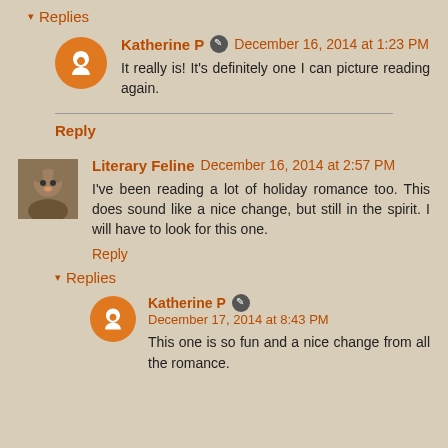▾ Replies
Katherine P  December 16, 2014 at 1:23 PM
It really is! It's definitely one I can picture reading again.
Reply
Literary Feline  December 16, 2014 at 2:57 PM
I've been reading a lot of holiday romance too. This does sound like a nice change, but still in the spirit. I will have to look for this one.
Reply
▾ Replies
Katherine P  December 17, 2014 at 8:43 PM
This one is so fun and a nice change from all the romance.